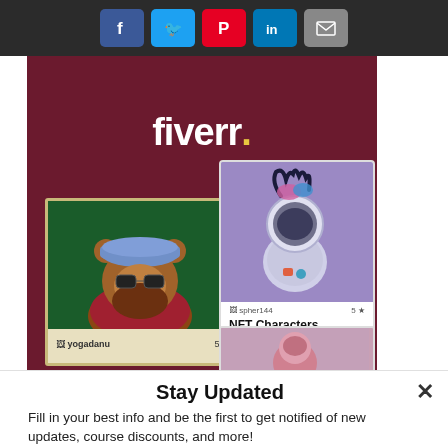[Figure (screenshot): Social sharing buttons bar: Facebook (blue), Twitter (light blue), Pinterest (red), LinkedIn (blue), Email (gray)]
[Figure (screenshot): Fiverr promotional banner with dark red/maroon background showing Fiverr logo and NFT character artwork cards including a bear wearing a beret and sunglasses (yogadanu, 5 stars) and a sci-fi character (spher144, 5 stars, NFT Characters)]
Stay Updated
Fill in your best info and be the first to get notified of new updates, course discounts, and more!